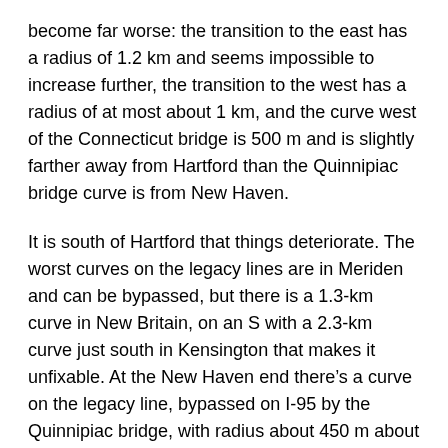become far worse: the transition to the east has a radius of 1.2 km and seems impossible to increase further, the transition to the west has a radius of at most about 1 km, and the curve west of the Connecticut bridge is 500 m and is slightly farther away from Hartford than the Quinnipiac bridge curve is from New Haven.
It is south of Hartford that things deteriorate. The worst curves on the legacy lines are in Meriden and can be bypassed, but there is a 1.3-km curve in New Britain, on an S with a 2.3-km curve just south in Kensington that makes it unfixable. At the New Haven end there's a curve on the legacy line, bypassed on I-95 by the Quinnipiac bridge, with radius about 450 m about 2.5 km out of the station.
Overall travel time